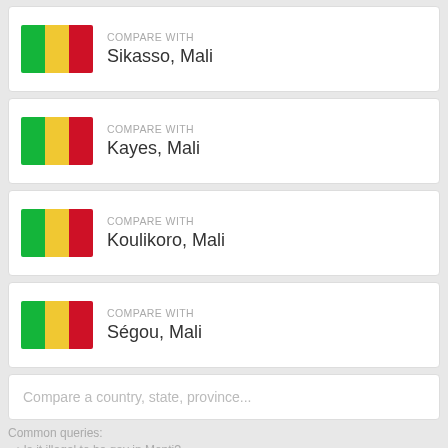COMPARE WITH Sikasso, Mali
COMPARE WITH Kayes, Mali
COMPARE WITH Koulikoro, Mali
COMPARE WITH Ségou, Mali
Compare a country, state, province...
Common queries:
Is it illegal to be gay in Mopti?
Is homosexuality legal in Mopti?
Is gay marriage legal in Mopti?
LGBT Rights in Mali
LGBT RIGHTS IN Kidal